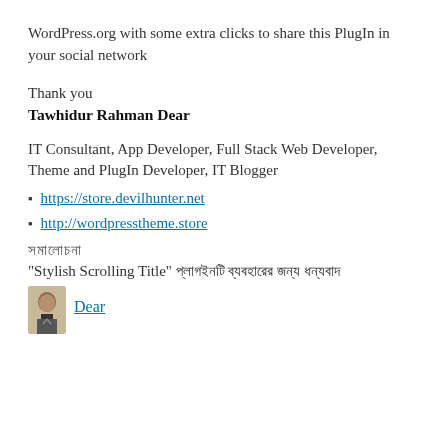WordPress.org with some extra clicks to share this PlugIn in your social network
Thank you
Tawhidur Rahman Dear
IT Consultant, App Developer, Full Stack Web Developer, Theme and PlugIn Developer, IT Blogger
https://store.devilhunter.net
http://wordpresstheme.store
সমালোচনা
"Stylish Scrolling Title" প্লাগইনটি ব্যবহারের জন্য ধন্যবাদ
Dear